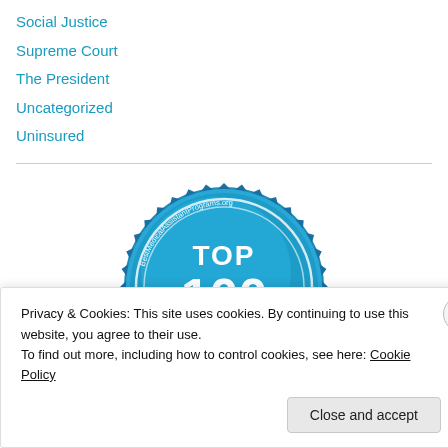Social Justice
Supreme Court
The President
Uncategorized
Uninsured
[Figure (logo): Top 100 Health Care Blogs badge from BestMedicalAssistantPrograms.org — a round blue badge with serrated edge, white text reading TOP 100, and an orange ribbon banner at the bottom reading HEALTH CARE BLOG]
Privacy & Cookies: This site uses cookies. By continuing to use this website, you agree to their use.
To find out more, including how to control cookies, see here: Cookie Policy
Close and accept